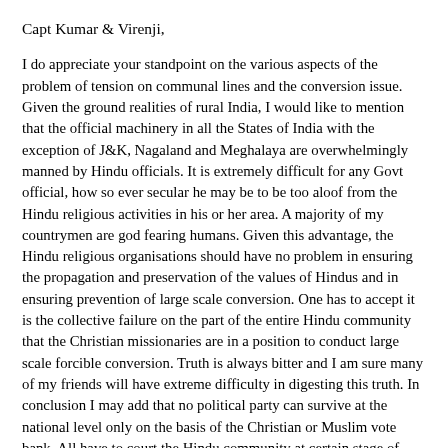Capt Kumar & Virenji,
I do appreciate your standpoint on the various aspects of the problem of tension on communal lines and the conversion issue. Given the ground realities of rural India, I would like to mention that the official machinery in all the States of India with the exception of J&K, Nagaland and Meghalaya are overwhelmingly manned by Hindu officials. It is extremely difficult for any Govt official, how so ever secular he may be to be too aloof from the Hindu religious activities in his or her area. A majority of my countrymen are god fearing humans. Given this advantage, the Hindu religious organisations should have no problem in ensuring the propagation and preservation of the values of Hindus and in ensuring prevention of large scale conversion. One has to accept it is the collective failure on the part of the entire Hindu community that the Christian missionaries are in a position to conduct large scale forcible conversion. Truth is always bitter and I am sure many of my friends will have extreme difficulty in digesting this truth. In conclusion I may add that no political party can survive at the national level only on the basis of the Christian or Muslim vote bank. All have to court the Hindu community at certain stage of their struggle for existence. Despite all this advantage that the Hindus enjoy in India , what is the reason for the present state of affairs ? Let all of us think and come back.